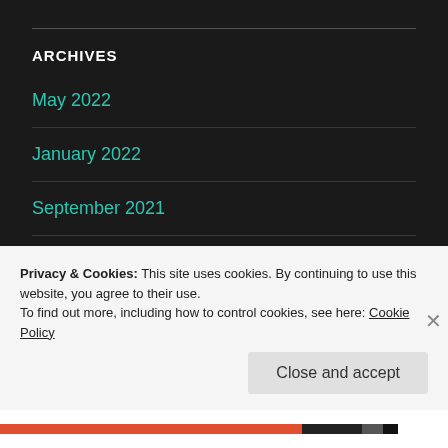ARCHIVES
May 2022
January 2022
September 2021
March 2020
Privacy & Cookies: This site uses cookies. By continuing to use this website, you agree to their use.
To find out more, including how to control cookies, see here: Cookie Policy
Close and accept